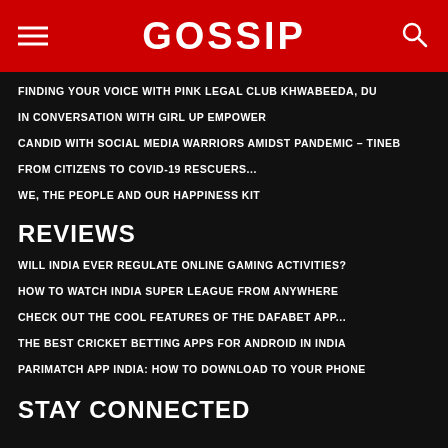GOSSIP
FINDING YOUR VOICE WITH PINK LEGAL CLUB KHWABEEDA, DU
IN CONVERSATION WITH GIRL UP EMPOWER
CANDID WITH SOCIAL MEDIA WARRIORS AMIDST PANDEMIC – TINEB
FROM CITIZENS TO COVID-19 RESCUERS...
WE, THE PEOPLE AND OUR HAPPINESS KIT
REVIEWS
WILL INDIA EVER REGULATE ONLINE GAMING ACTIVITIES?
HOW TO WATCH INDIA SUPER LEAGUE FROM ANYWHERE
CHECK OUT THE COOL FEATURES OF THE DAFABET APP...
THE BEST CRICKET BETTING APPS FOR ANDROID IN INDIA
PARIMATCH APP INDIA: HOW TO DOWNLOAD TO YOUR PHONE
STAY CONNECTED